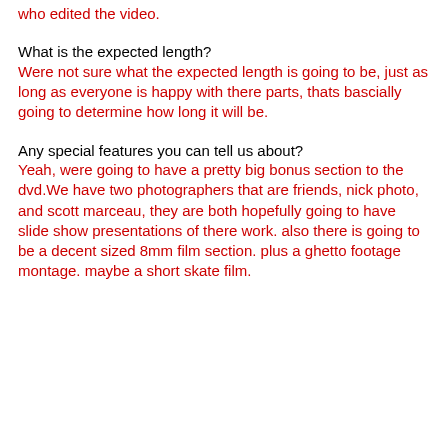who edited the video.
What is the expected length?
Were not sure what the expected length is going to be, just as long as everyone is happy with there parts, thats bascially going to determine how long it will be.
Any special features you can tell us about?
Yeah, were going to have a pretty big bonus section to the dvd.We have two photographers that are friends, nick photo, and scott marceau, they are both hopefully going to have slide show presentations of there work. also there is going to be a decent sized 8mm film section. plus a ghetto footage montage. maybe a short skate film.